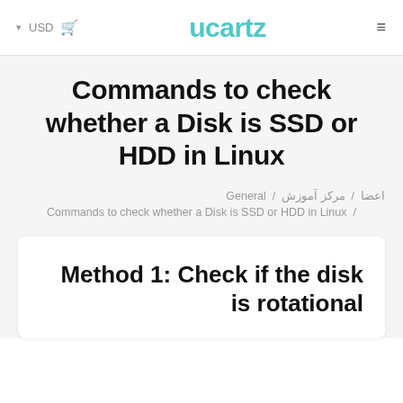USD  [cart icon]  Ucartz  [menu icon]
Commands to check whether a Disk is SSD or HDD in Linux
اعضا / مرکز آموزش / General
Commands to check whether a Disk is SSD or HDD in Linux /
Method 1: Check if the disk is rotational